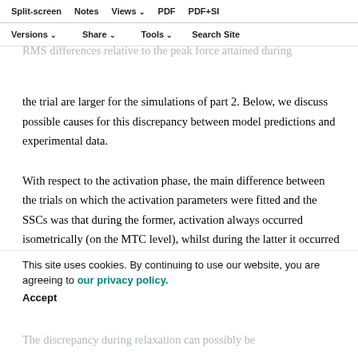Split-screen | Notes | Views | PDF | PDF+SI | Versions | Share | Tools | Search Site
stimulation... Note... Table... the activation RMS differences between part 1 and part 2 are not large, but the RMS differences relative to the peak force attained during the trial are larger for the simulations of part 2. Below, we discuss possible causes for this discrepancy between model predictions and experimental data.
With respect to the activation phase, the main difference between the trials on which the activation parameters were fitted and the SSCs was that during the former, activation always occurred isometrically (on the MTC level), whilst during the latter it occurred during shortening of the MTC. This observation suggests that the concentric part of the time course of activation, in a way that is not modeled here.
This site uses cookies. By continuing to use our website, you are agreeing to our privacy policy.
Accept
The discrepancy during relaxation can possibly be...